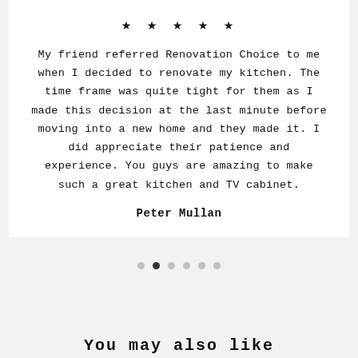★ ★ ★ ★ ★
My friend referred Renovation Choice to me when I decided to renovate my kitchen. The time frame was quite tight for them as I made this decision at the last minute before moving into a new home and they made it. I did appreciate their patience and experience. You guys are amazing to make such a great kitchen and TV cabinet.
Peter Mullan
[Figure (other): Carousel pagination dots — six dots, second one filled/active]
You may also like